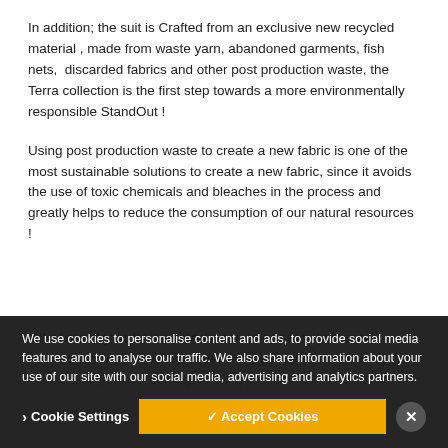In addition; the suit is Crafted from an exclusive new recycled material , made from waste yarn, abandoned garments, fish nets,  discarded fabrics and other post production waste, the Terra collection is the first step towards a more environmentally responsible StandOut !
Using post production waste to create a new fabric is one of the most sustainable solutions to create a new fabric, since it avoids the use of toxic chemicals and bleaches in the process and greatly helps to reduce the consumption of our natural resources !
All of our dry suits are handmade in our family owned production in Slovenia (on the Sunny side of the Alps☀) Our cookie ecosystems: this dry suit is a product of Sustainable...
We use cookies to personalise content and ads, to provide social media features and to analyse our traffic. We also share information about your use of our site with our social media, advertising and analytics partners.